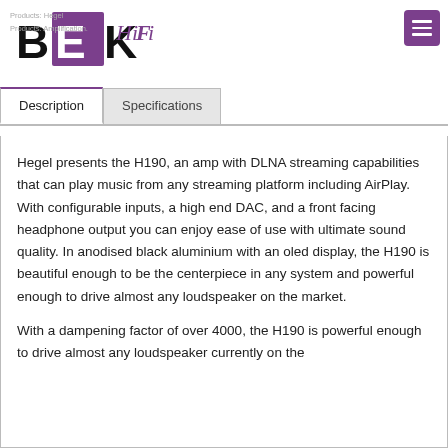[Figure (logo): BEK HiFi logo — black letters B, E, K with purple/magenta square behind the E, and purple italic 'HiFi' text]
Products: Hegel
Products: Amplification.
[Figure (other): Purple hamburger/menu button in top right corner]
Description
Specifications
Hegel presents the H190, an amp with DLNA streaming capabilities that can play music from any streaming platform including AirPlay. With configurable inputs, a high end DAC, and a front facing headphone output you can enjoy ease of use with ultimate sound quality. In anodised black aluminium with an oled display, the H190 is beautiful enough to be the centerpiece in any system and powerful enough to drive almost any loudspeaker on the market.
With a dampening factor of over 4000, the H190 is powerful enough to drive almost any loudspeaker currently on the